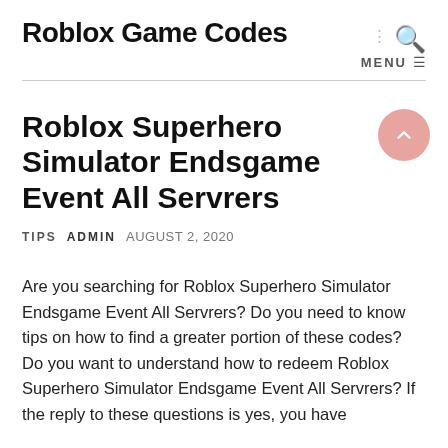Roblox Game Codes
Roblox Superhero Simulator Endsgame Event All Servrers
TIPS  ADMIN  AUGUST 2, 2020
Are you searching for Roblox Superhero Simulator Endsgame Event All Servrers? Do you need to know tips on how to find a greater portion of these codes? Do you want to understand how to redeem Roblox Superhero Simulator Endsgame Event All Servrers? If the reply to these questions is yes, you have